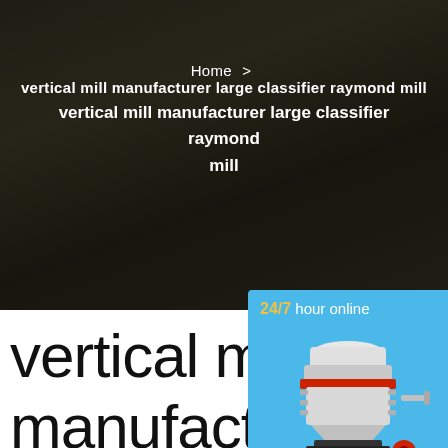Home > vertical mill manufacturer large classifier raymond mill
vertical mill manufacturer large classifier raymond mill
[Figure (photo): Industrial cone crusher machine with white body, red and black accents on a blue background, shown in a sidebar panel with '24/7 hour online' text and 'Click me to chat>>' button]
24/7 hour online
Click me to chat>>
Enquiry
oyyoitml@omailo
vertical mill manufacturer lar